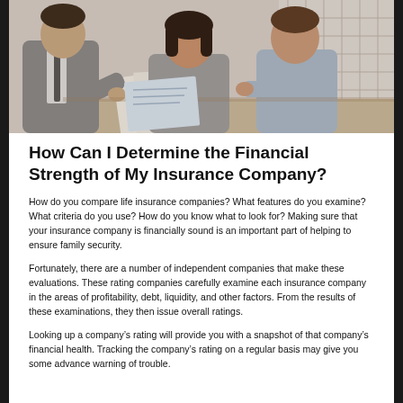[Figure (photo): Three people (an insurance agent in a suit and two clients) reviewing documents together at a table, with window blinds in the background.]
How Can I Determine the Financial Strength of My Insurance Company?
How do you compare life insurance companies? What features do you examine? What criteria do you use? How do you know what to look for? Making sure that your insurance company is financially sound is an important part of helping to ensure family security.
Fortunately, there are a number of independent companies that make these evaluations. These rating companies carefully examine each insurance company in the areas of profitability, debt, liquidity, and other factors. From the results of these examinations, they then issue overall ratings.
Looking up a company's rating will provide you with a snapshot of that company's financial health. Tracking the company's rating on a regular basis may give you some advance warning of trouble.